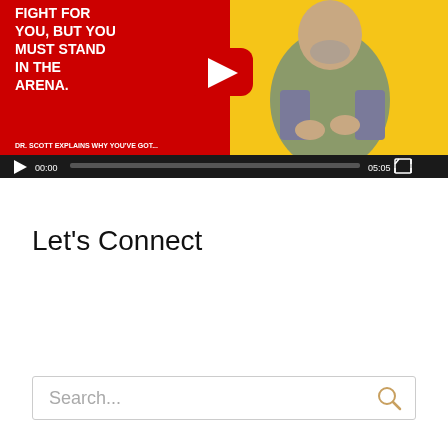[Figure (screenshot): YouTube video thumbnail showing a man in a green t-shirt against a yellow background, with red overlay text reading 'FIGHT FOR YOU, BUT YOU MUST STAND IN THE ARENA.' and a YouTube play button. Below is a video player bar showing 00:00 current time, a progress bar, 05:05 total duration, and a fullscreen button.]
Let's Connect
[Figure (other): Empty white space area below Let's Connect heading (social media icons area, not visible)]
Search...